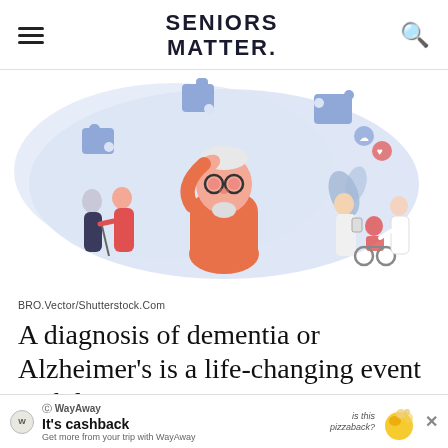SENIORS MATTER.
[Figure (illustration): Medical illustration showing an elderly man with glasses and a red sweater holding his head in confusion, surrounded by puzzle pieces. In the background: an elderly man with a cane attended by a nurse in red scrubs on the left; a doctor in white coat with a patient in a wheelchair and another person on the right. Light blue cloud-like background with decorative leaves.]
BRO.Vector/Shutterstock.Com
A diagnosis of dementia or Alzheimer’s is a life-changing event with long-term
implications...
[Figure (other): Advertisement banner for WayAway: 'It’s cashback - Get more from your trip with WayAway' with a pizza illustration and 'is this pizzaback?' text. Close button X on right.]